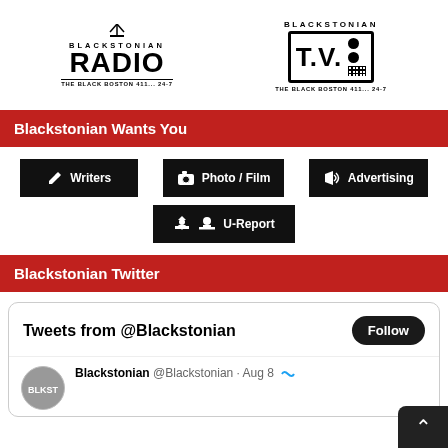[Figure (logo): Blackstonian Radio logo with antenna icon, BLACKSTONIAN RADIO text, and tagline THE BLACK BOSTON 411... 24-7]
[Figure (logo): Blackstonian T.V. logo with BLACKSTONIAN text, T.V. in a bordered box with dots and grid pattern, and tagline THE BLACK BOSTON 411... 24-7]
Blackstonian Wants You
[Figure (infographic): Three black buttons: pencil icon Writers, camera icon Photo / Film, megaphone icon Advertising, and below center a upload icon U-Report button]
Blackstonian Twitter
[Figure (screenshot): Twitter embed widget showing Tweets from @Blackstonian with Follow button, and a tweet item from Blackstonian @Blackstonian Aug 8 with avatar]